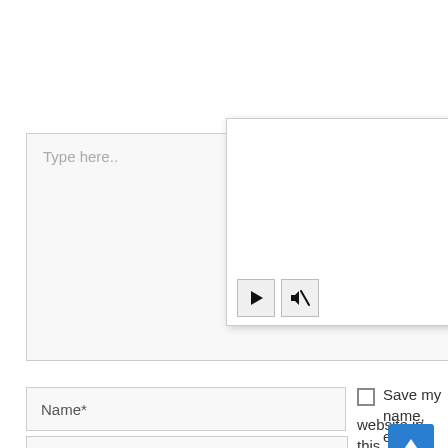[Figure (screenshot): A textarea input box with placeholder text 'Type here..' and a resize handle in the bottom right corner. A video popup overlay appears on top with a close (X) button in the top right, an empty white content area, and two control buttons at the bottom: a play button and a mute/sound-off button.]
Type here..
Name*
Save my name, email, website in this